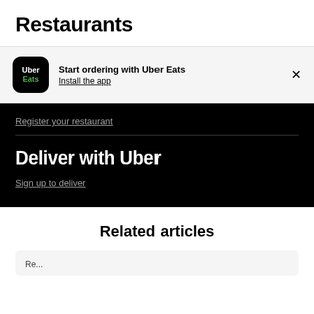Restaurants
Start ordering with Uber Eats
Install the app
Register your restaurant
Deliver with Uber
Sign up to deliver
Related articles